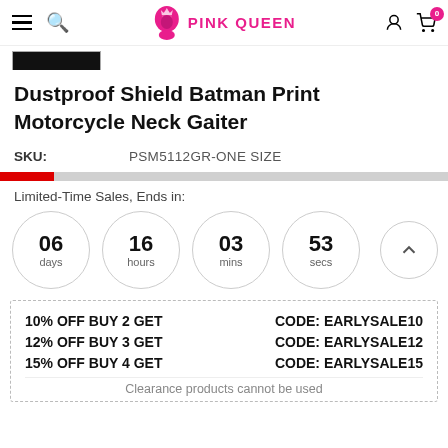PINK QUEEN
Dustproof Shield Batman Print Motorcycle Neck Gaiter
SKU: PSM5112GR-ONE SIZE
Limited-Time Sales, Ends in:
06 days  16 hours  03 mins  53 secs
10% OFF BUY 2 GET   CODE: EARLYSALE10
12% OFF BUY 3 GET   CODE: EARLYSALE12
15% OFF BUY 4 GET   CODE: EARLYSALE15
Clearance products cannot be used